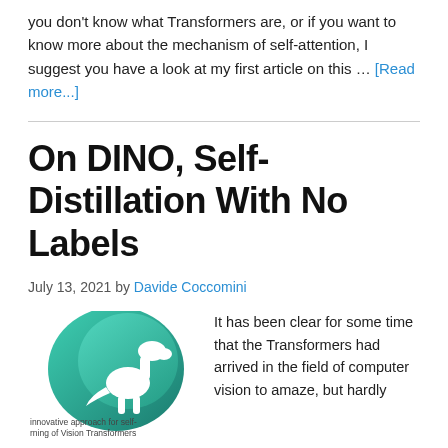you don't know what Transformers are, or if you want to know more about the mechanism of self-attention, I suggest you have a look at my first article on this … [Read more...]
On DINO, Self-Distillation With No Labels
July 13, 2021 by Davide Coccomini
[Figure (illustration): Green gradient DINO logo with a white dinosaur silhouette, with caption text: innovative approach for self-learning of Vision Transformers]
It has been clear for some time that the Transformers had arrived in the field of computer vision to amaze, but hardly